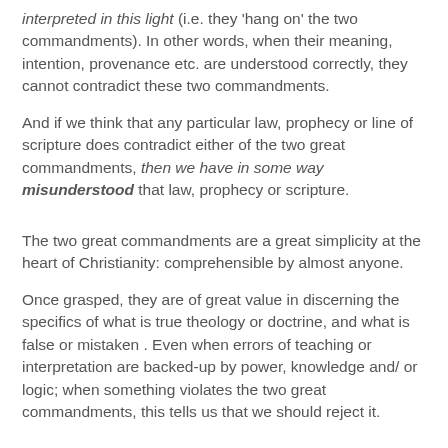interpreted in this light (i.e. they 'hang on' the two commandments). In other words, when their meaning, intention, provenance etc. are understood correctly, they cannot contradict these two commandments.
And if we think that any particular law, prophecy or line of scripture does contradict either of the two great commandments, then we have in some way misunderstood that law, prophecy or scripture.
The two great commandments are a great simplicity at the heart of Christianity: comprehensible by almost anyone.
Once grasped, they are of great value in discerning the specifics of what is true theology or doctrine, and what is false or mistaken . Even when errors of teaching or interpretation are backed-up by power, knowledge and/ or logic; when something violates the two great commandments, this tells us that we should reject it.